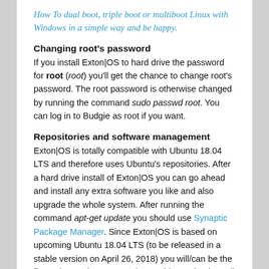How To dual boot, triple boot or multiboot Linux with Windows in a simple way and be happy.
Changing root's password
If you install Exton|OS to hard drive the password for root (root) you'll get the chance to change root's password. The root password is otherwise changed by running the command sudo passwd root. You can log in to Budgie as root if you want.
Repositories and software management
Exton|OS is totally compatible with Ubuntu 18.04 LTS and therefore uses Ubuntu's repositories. After a hard drive install of Exton|OS you can go ahead and install any extra software you like and also upgrade the whole system. After running the command apt-get update you should use Synaptic Package Manager. Since Exton|OS is based on upcoming Ubuntu 18.04 LTS (to be released in a stable version on April 26, 2018) you will/can be the first to have Ubuntu 18.04 in a stable version in April 2018.